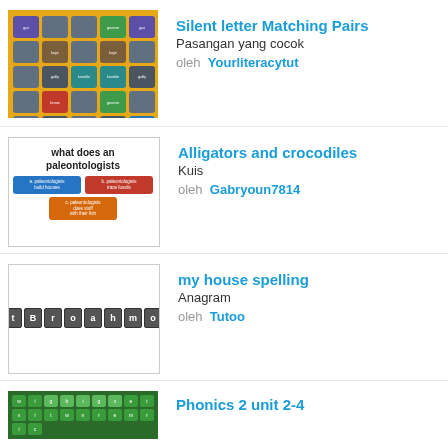[Figure (screenshot): Silent letter Matching Pairs game thumbnail with colored tiles on orange background]
Silent letter Matching Pairs
Pasangan yang cocok
oleh  Yourliteracytut
[Figure (screenshot): Alligators and crocodiles quiz thumbnail with text 'what does an paleontologists' and colored answer buttons]
Alligators and crocodiles
Kuis
oleh  Gabryoun7814
[Figure (screenshot): my house spelling anagram thumbnail with letter tiles t B r o a h m o]
my house spelling
Anagram
oleh  Tutoo
[Figure (screenshot): Phonics 2 unit 2-4 thumbnail with green grid of letters]
Phonics 2 unit 2-4